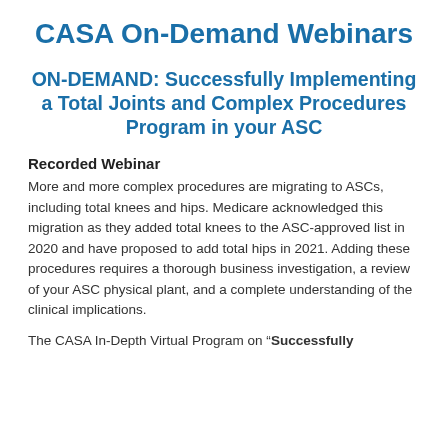CASA On-Demand Webinars
ON-DEMAND: Successfully Implementing a Total Joints and Complex Procedures Program in your ASC
Recorded Webinar
More and more complex procedures are migrating to ASCs, including total knees and hips. Medicare acknowledged this migration as they added total knees to the ASC-approved list in 2020 and have proposed to add total hips in 2021. Adding these procedures requires a thorough business investigation, a review of your ASC physical plant, and a complete understanding of the clinical implications.
The CASA In-Depth Virtual Program on "Successfully